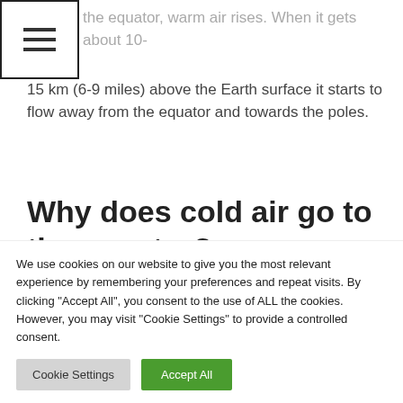☰
the equator, warm air rises. When it gets about 10-15 km (6-9 miles) above the Earth surface it starts to flow away from the equator and towards the poles.
Why does cold air go to the equator?
Ocean currents warmed by the Sun's energy carry
We use cookies on our website to give you the most relevant experience by remembering your preferences and repeat visits. By clicking "Accept All", you consent to the use of ALL the cookies. However, you may visit "Cookie Settings" to provide a controlled consent.